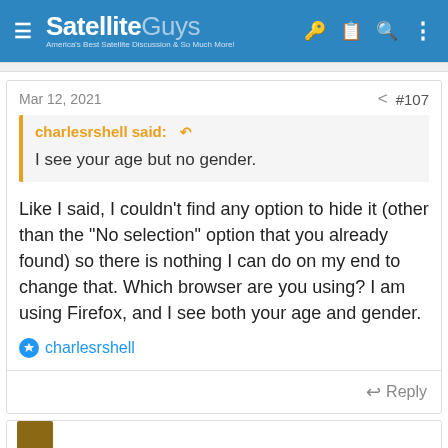SatelliteGuys — America's Best Satellite Discussion & So Much More!
Mar 12, 2021   #107
charlesrshell said: ↺

I see your age but no gender.
Like I said, I couldn't find any option to hide it (other than the "No selection" option that you already found) so there is nothing I can do on my end to change that. Which browser are you using? I am using Firefox, and I see both your age and gender.
charlesrshell
Reply